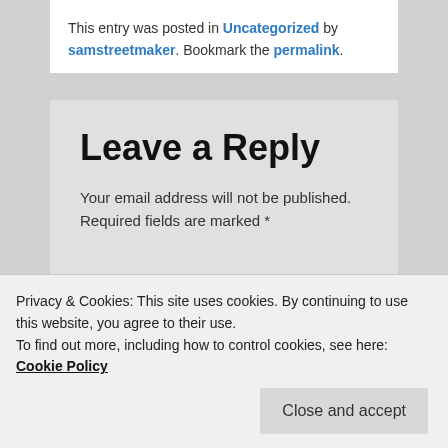This entry was posted in Uncategorized by samstreetmaker. Bookmark the permalink.
Leave a Reply
Your email address will not be published. Required fields are marked *
Comment *
Privacy & Cookies: This site uses cookies. By continuing to use this website, you agree to their use.
To find out more, including how to control cookies, see here: Cookie Policy
Close and accept